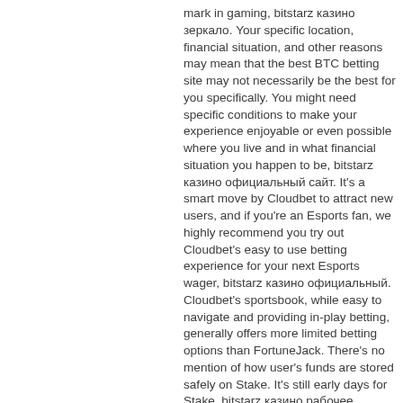mark in gaming, bitstarz казино зеркало. Your specific location, financial situation, and other reasons may mean that the best BTC betting site may not necessarily be the best for you specifically. You might need specific conditions to make your experience enjoyable or even possible where you live and in what financial situation you happen to be, bitstarz казино официальный сайт. It's a smart move by Cloudbet to attract new users, and if you're an Esports fan, we highly recommend you try out Cloudbet's easy to use betting experience for your next Esports wager, bitstarz казино официальный. Cloudbet's sportsbook, while easy to navigate and providing in-play betting, generally offers more limited betting options than FortuneJack. There's no mention of how user's funds are stored safely on Stake. It's still early days for Stake, bitstarz казино рабочее зеркало.